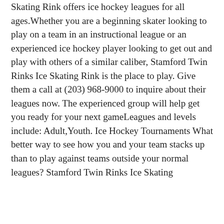Leagues Stamford Twin Rinks Ice Skating Rink offers ice hockey leagues for all ages.Whether you are a beginning skater looking to play on a team in an instructional league or an experienced ice hockey player looking to get out and play with others of a similar caliber, Stamford Twin Rinks Ice Skating Rink is the place to play. Give them a call at (203) 968-9000 to inquire about their leagues now. The experienced group will help get you ready for your next gameLeagues and levels include: Adult,Youth. Ice Hockey Tournaments What better way to see how you and your team stacks up than to play against teams outside your normal leagues? Stamford Twin Rinks Ice Skating